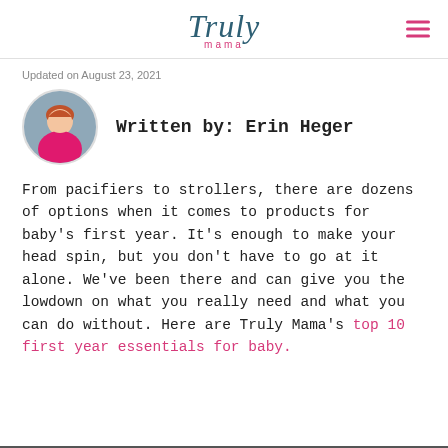Truly mama
Updated on August 23, 2021
Written by: Erin Heger
From pacifiers to strollers, there are dozens of options when it comes to products for baby's first year. It's enough to make your head spin, but you don't have to go at it alone. We've been there and can give you the lowdown on what you really need and what you can do without. Here are Truly Mama's top 10 first year essentials for baby.